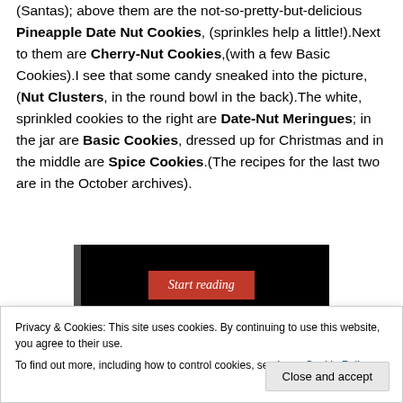(Santas); above them are the not-so-pretty-but-delicious Pineapple Date Nut Cookies, (sprinkles help a little!).Next to them are Cherry-Nut Cookies,(with a few Basic Cookies).I see that some candy sneaked into the picture,(Nut Clusters, in the round bowl in the back).The white, sprinkled cookies to the right are Date-Nut Meringues; in the jar are Basic Cookies, dressed up for Christmas and in the middle are Spice Cookies.(The recipes for the last two  are in the October archives).
[Figure (screenshot): Black video/media player area with a red 'Start reading' button in the center]
Privacy & Cookies: This site uses cookies. By continuing to use this website, you agree to their use.
To find out more, including how to control cookies, see here: Cookie Policy